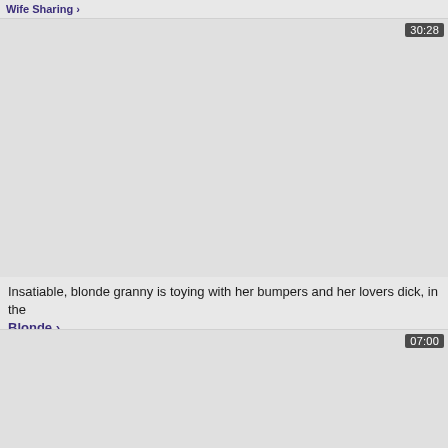Wife Sharing ›
[Figure (screenshot): Video thumbnail placeholder, light gray, duration badge 30:28]
Insatiable, blonde granny is toying with her bumpers and her lovers dick, in the
Blonde ›
[Figure (screenshot): Video thumbnail placeholder, light gray, duration badge 07:00]